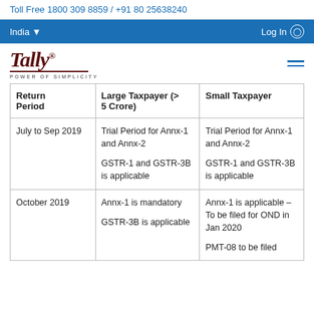Toll Free 1800 309 8859 / +91 80 25638240
India  Log In
[Figure (logo): Tally logo with tagline POWER OF SIMPLICITY]
| Return Period | Large Taxpayer (> 5 Crore) | Small Taxpayer |
| --- | --- | --- |
| July to Sep 2019 | Trial Period for Annx-1 and Annx-2

GSTR-1 and GSTR-3B is applicable | Trial Period for Annx-1 and Annx-2

GSTR-1 and GSTR-3B is applicable |
| October 2019 | Annx-1 is mandatory

GSTR-3B is applicable | Annx-1 is applicable – To be filed for OND in Jan 2020

PMT-08 to be filed |